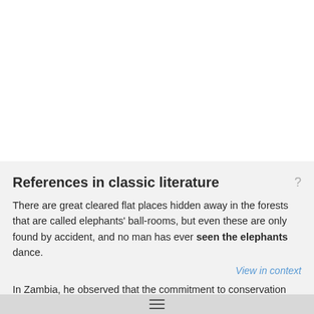References in classic literature
There are great cleared flat places hidden away in the forests that are called elephants' ball-rooms, but even these are only found by accident, and no man has ever seen the elephants dance.
View in context
In Zambia, he observed that the commitment to conservation had seen the elephant numbers rise, but he and his colleagues in the region